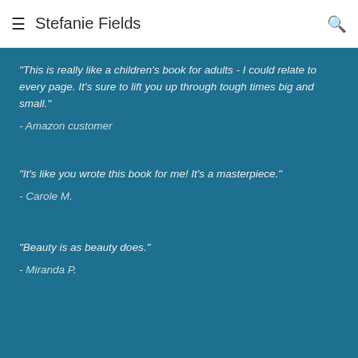≡  Stefanie Fields  🔍
"This is really like a children's book for adults - I could relate to every page.  It's sure to lift you up through tough times big and small."
- Amazon customer
"It's like you wrote this book for me!  It's a masterpiece."
- Carole M.
"Beauty is as beauty does."
- Miranda P.